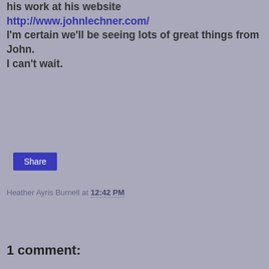his work at his website http://www.johnlechner.com/ I'm certain we'll be seeing lots of great things from John. I can't wait.
Heather Ayris Burnell at 12:42 PM
Share
1 comment: